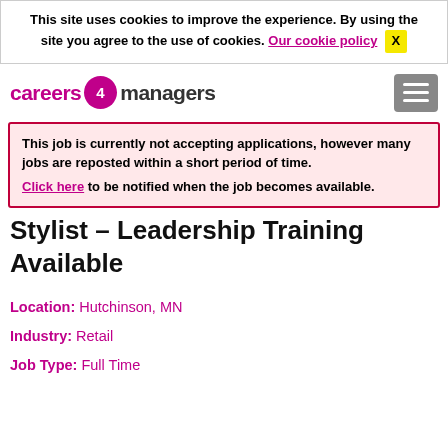This site uses cookies to improve the experience. By using the site you agree to the use of cookies. Our cookie policy  X
[Figure (logo): careers4managers logo with magenta text and circular icon]
This job is currently not accepting applications, however many jobs are reposted within a short period of time. Click here to be notified when the job becomes available.
Stylist – Leadership Training Available
Location: Hutchinson, MN
Industry: Retail
Job Type: Full Time